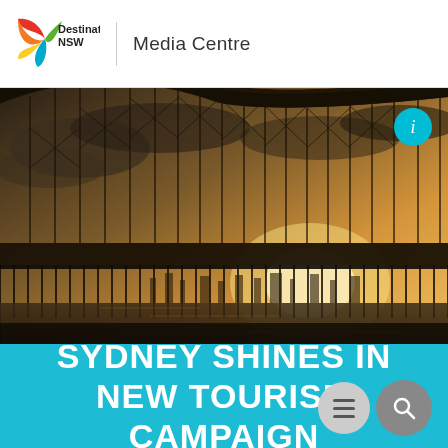Destination NSW | Media Centre
[Figure (photo): Dramatic low-angle photograph of Sydney Harbour Bridge at sunset/golden hour, with silhouetted bridge structure against a warm sky and city skyline in the background. A teal info button appears in the upper right corner of the image.]
SYDNEY SHINES IN NEW TOURISM CAMPAIGN